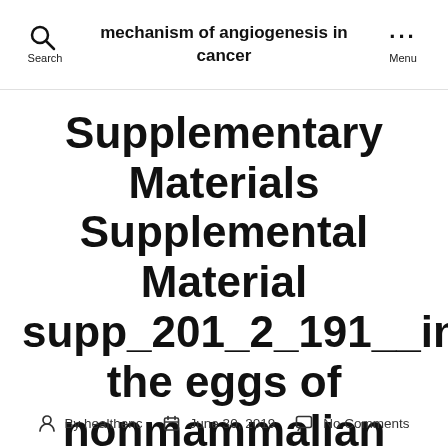mechanism of angiogenesis in cancer
Supplementary Materials Supplemental Material supp_201_2_191__index. the eggs of nonmammalian vertebrate species
By healthenc  June 30, 2019  No Comments